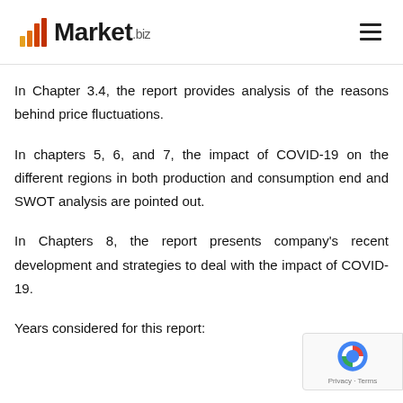Market.biz
In Chapter 3.4, the report provides analysis of the reasons behind price fluctuations.
In chapters 5, 6, and 7, the impact of COVID-19 on the different regions in both production and consumption end and SWOT analysis are pointed out.
In Chapters 8, the report presents company's recent development and strategies to deal with the impact of COVID-19.
Years considered for this report: